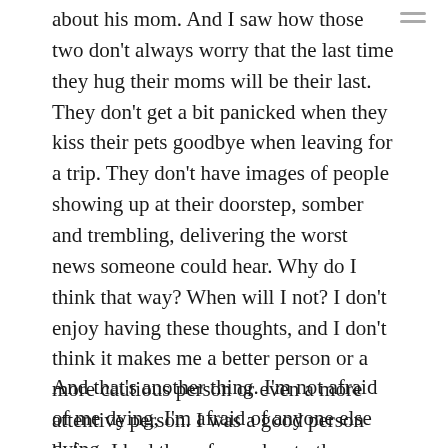about his mom. And I saw how those two don't always worry that the last time they hug their moms will be their last. They don't get a bit panicked when they kiss their pets goodbye when leaving for a trip. They don't have images of people showing up at their doorstep, somber and trembling, delivering the worst news someone could hear. Why do I think that way? When will I not? I don't enjoy having these thoughts, and I don't think it makes me a better person or a more cautious person or even a more attentive person. I was a good person before I had these fears about other people dying.
And that's another thing. I'm not afraid of me dying, I'm afraid of anyone else dying.